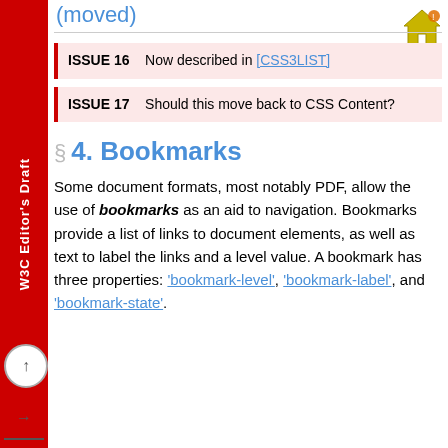(moved)
ISSUE 16   Now described in [CSS3LIST]
ISSUE 17   Should this move back to CSS Content?
4. Bookmarks
Some document formats, most notably PDF, allow the use of bookmarks as an aid to navigation. Bookmarks provide a list of links to document elements, as well as text to label the links and a level value. A bookmark has three properties: 'bookmark-level', 'bookmark-label', and 'bookmark-state'.